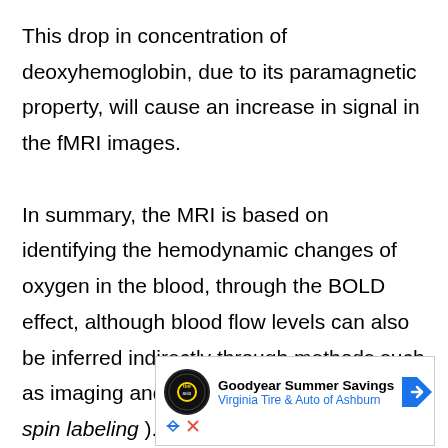This drop in concentration of deoxyhemoglobin, due to its paramagnetic property, will cause an increase in signal in the fMRI images.
In summary, the MRI is based on identifying the hemodynamic changes of oxygen in the blood, through the BOLD effect, although blood flow levels can also be inferred indirectly through methods such as imaging and perfusion and ASL ( arterial spin labeling ).
[Figure (other): Advertisement banner for Goodyear Summer Savings - Virginia Tire & Auto of Ashburn, with Goodyear logo and navigation arrow icon]